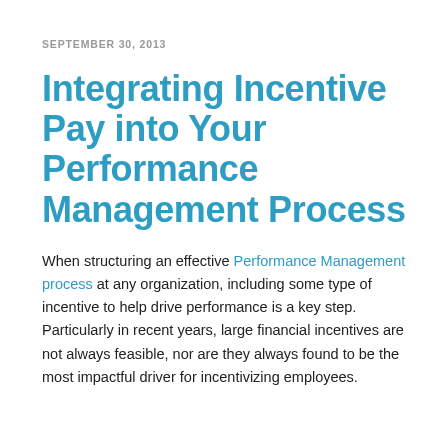SEPTEMBER 30, 2013
Integrating Incentive Pay into Your Performance Management Process
When structuring an effective Performance Management process at any organization, including some type of incentive to help drive performance is a key step. Particularly in recent years, large financial incentives are not always feasible, nor are they always found to be the most impactful driver for incentivizing employees.